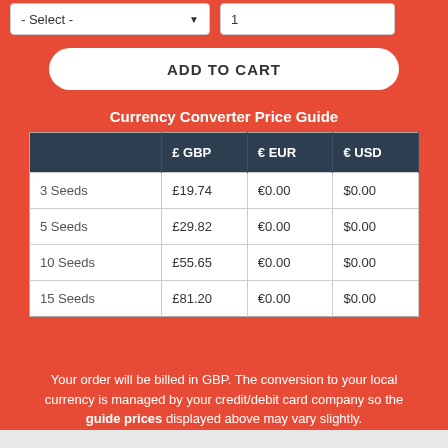- Select -
1
ADD TO CART
Currency Converter Price Guide
|  | £ GBP | € EUR | € USD |
| --- | --- | --- | --- |
| 3 Seeds | £19.74 | €0.00 | $0.00 |
| 5 Seeds | £29.82 | €0.00 | $0.00 |
| 10 Seeds | £55.65 | €0.00 | $0.00 |
| 15 Seeds | £81.20 | €0.00 | $0.00 |
Your order will be billed in GBP. The conversion to your local currency is managed by your credit/debit card company so the guide prices displayed above may vary slightly.